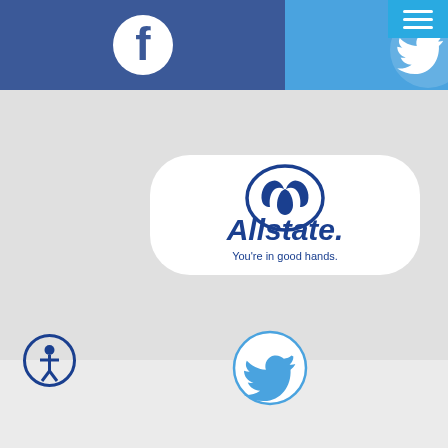[Figure (logo): Facebook icon - white 'f' letter on dark navy blue background circle]
[Figure (logo): Twitter bird icon on light blue background, partially visible at right edge]
[Figure (logo): Hamburger menu icon (three white horizontal lines) on light blue background at top right]
[Figure (logo): Allstate logo with hands icon and tagline 'You're in good hands.' on white rounded rectangle card]
[Figure (logo): Accessibility icon - person in circle outline, bottom left]
[Figure (logo): Twitter bird icon in light blue circle outline, bottom center]